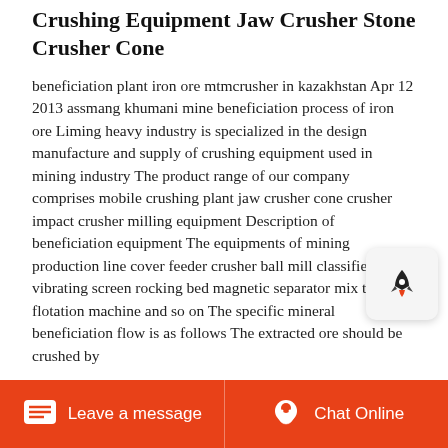Crushing Equipment Jaw Crusher Stone Crusher Cone
beneficiation plant iron ore mtmcrusher in kazakhstan Apr 12 2013 assmang khumani mine beneficiation process of iron ore Liming heavy industry is specialized in the design manufacture and supply of crushing equipment used in mining industry The product range of our company comprises mobile crushing plant jaw crusher cone crusher impact crusher milling equipment Description of beneficiation equipment The equipments of mining production line cover feeder crusher ball mill classifier vibrating screen rocking bed magnetic separator mix tank flotation machine and so on The specific mineral beneficiation flow is as follows The extracted ore should be crushed by
[Figure (other): Rocket icon popup button overlay on the right side of the content area]
Leave a message   Chat Online